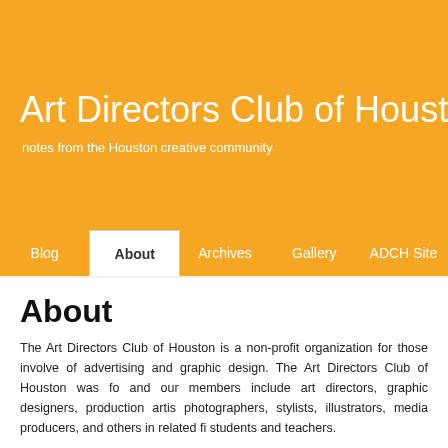Art Directors Club of Houston
notes from the Houston creative community
Blog | About | Archives | Gallery | ADCH Site
About
The Art Directors Club of Houston is a non-profit organization for those involved of advertising and graphic design. The Art Directors Club of Houston was fo and our members include art directors, graphic designers, production artis photographers, stylists, illustrators, media producers, and others in related fi students and teachers.
The purposes of the Art Directors Club of Houston are to provide a forum for t information, bring speakers to present their work and ideas, sponsor juried co exhibits, create seminars to address various topics, establish a vehicle